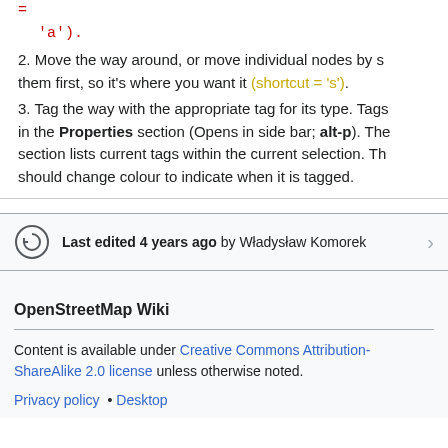= 'a').
2. Move the way around, or move individual nodes by selecting them first, so it's where you want it (shortcut = 's').
3. Tag the way with the appropriate tag for its type. Tags are in the Properties section (Opens in side bar; alt-p). The section lists current tags within the current selection. The should change colour to indicate when it is tagged.
Last edited 4 years ago by Władysław Komorek
OpenStreetMap Wiki
Content is available under Creative Commons Attribution-ShareAlike 2.0 license unless otherwise noted.
Privacy policy • Desktop